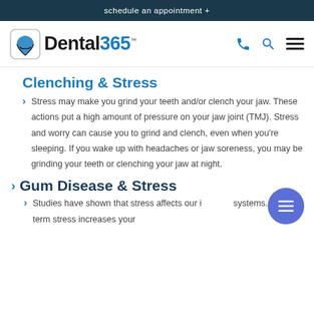schedule an appointment +
[Figure (logo): Dental365 logo with tooth/heart icon]
Clenching & Stress
Stress may make you grind your teeth and/or clench your jaw. These actions put a high amount of pressure on your jaw joint (TMJ). Stress and worry can cause you to grind and clench, even when you're sleeping. If you wake up with headaches or jaw soreness, you may be grinding your teeth or clenching your jaw at night.
Gum Disease & Stress
Studies have shown that stress affects our immune systems. Long-term stress increases your